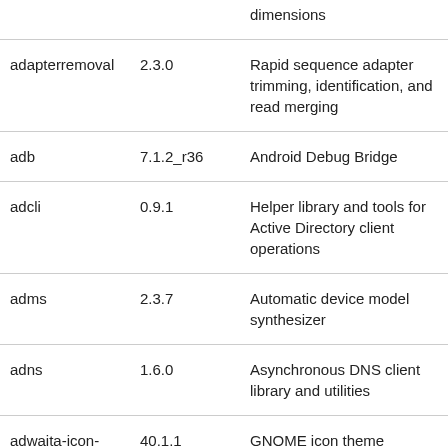| Name | Version | Description |
| --- | --- | --- |
|  |  | dimensions |
| adapterremoval | 2.3.0 | Rapid sequence adapter trimming, identification, and read merging |
| adb | 7.1.2_r36 | Android Debug Bridge |
| adcli | 0.9.1 | Helper library and tools for Active Directory client operations |
| adms | 2.3.7 | Automatic device model synthesizer |
| adns | 1.6.0 | Asynchronous DNS client library and utilities |
| adwaita-icon-theme | 40.1.1 | GNOME icon theme |
| aegis | 4.24 | Project change supervisor |